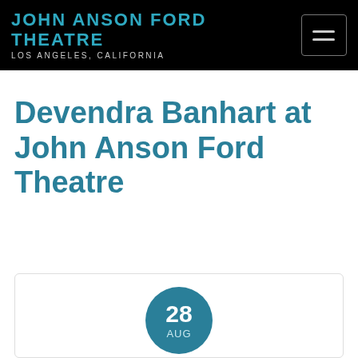JOHN ANSON FORD THEATRE LOS ANGELES, CALIFORNIA
Devendra Banhart at John Anson Ford Theatre
[Figure (other): Event date card showing circular date badge with '28 AUG']